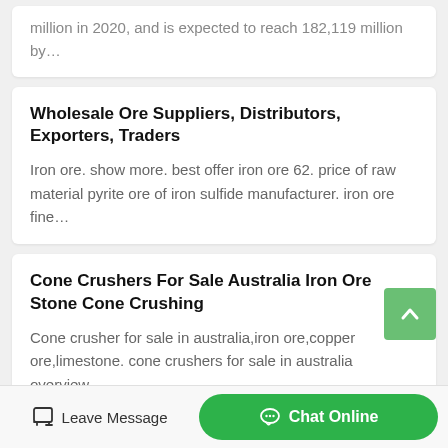million in 2020, and is expected to reach 182,119 million by…
Wholesale Ore Suppliers, Distributors, Exporters, Traders
Iron ore. show more. best offer iron ore 62. price of raw material pyrite ore of iron sulfide manufacturer. iron ore fine…
Cone Crushers For Sale Australia Iron Ore Stone Cone Crushing
Cone crusher for sale in australia,iron ore,copper ore,limestone. cone crushers for sale in australia overview.…
Leave Message
Chat Online